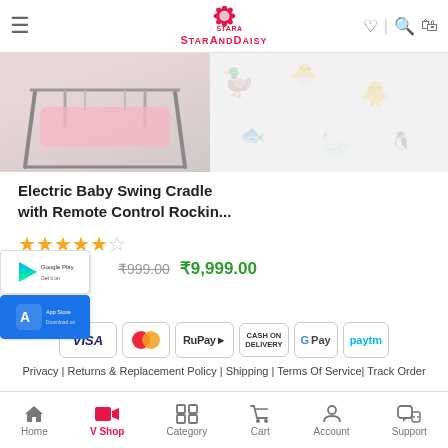StarAndDaisy
[Figure (photo): Electric baby swing cradle product image showing metal frame structure on pink background, partially visible]
Electric Baby Swing Cradle with Remote Control Rockin...
★★★★★ (star rating, approximately 4.5 stars)
₹999.00  ₹9,999.00
[Figure (logo): Google Play Store badge]
[Figure (logo): Apple App Store badge]
[Figure (infographic): Payment method badges: VISA, MasterCard, RuPay, Cash on Delivery, G Pay, Paytm]
Privacy | Returns & Replacement Policy | Shipping | Terms Of Service| Track Order
Home  V Shop  Category  Cart  Account  Support